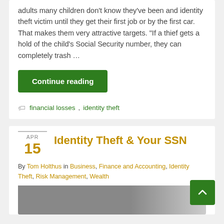adults many children don't know they've been and identity theft victim until they get their first job or by the first car. That makes them very attractive targets. "If a thief gets a hold of the child's Social Security number, they can completely trash …
Continue reading
financial losses, identity theft
Identity Theft & Your SSN
APR 15
By Tom Holthus in Business, Finance and Accounting, Identity Theft, Risk Management, Wealth
[Figure (photo): Dark blurry photo at bottom of page, partially visible]